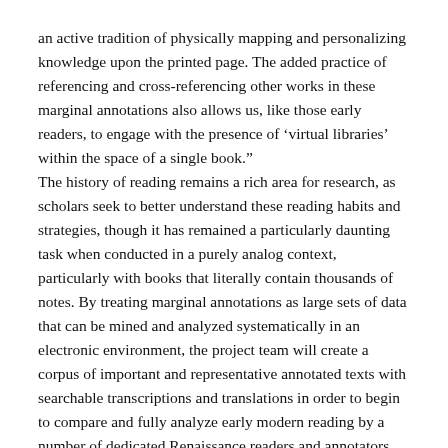an active tradition of physically mapping and personalizing knowledge upon the printed page. The added practice of referencing and cross-referencing other works in these marginal annotations also allows us, like those early readers, to engage with the presence of ‘virtual libraries’ within the space of a single book.” The history of reading remains a rich area for research, as scholars seek to better understand these reading habits and strategies, though it has remained a particularly daunting task when conducted in a purely analog context, particularly with books that literally contain thousands of notes. By treating marginal annotations as large sets of data that can be mined and analyzed systematically in an electronic environment, the project team will create a corpus of important and representative annotated texts with searchable transcriptions and translations in order to begin to compare and fully analyze early modern reading by a number of dedicated Renaissance readers and annotators.